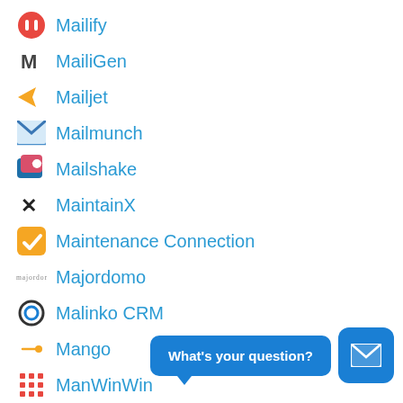Mailify
MailiGen
Mailjet
Mailmunch
Mailshake
MaintainX
Maintenance Connection
Majordomo
Malinko CRM
Mango
ManWinWin
[Figure (other): Chat widget with 'What's your question?' bubble and blue mail icon button]